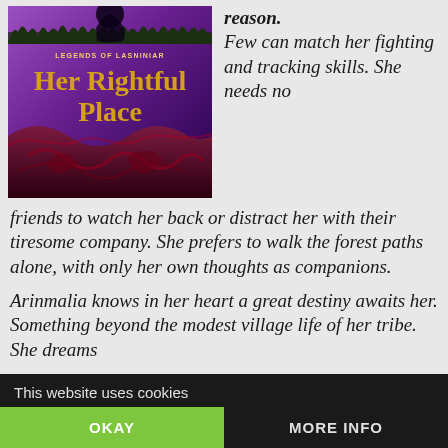[Figure (illustration): Book cover for 'Her Rightful Place' from the Legends of Lasniniar series. Purple and dark background with gold/yellow title text and decorative swirls.]
reason. Few can match her fighting and tracking skills. She needs no friends to watch her back or distract her with their tiresome company. She prefers to walk the forest paths alone, with only her own thoughts as companions.
Arinmalia knows in her heart a great destiny awaits her. Something beyond the modest village life of her tribe. She dreams of glory. She hungers to make her tribemates understand.
This website uses cookies  OKAY  MORE INFO